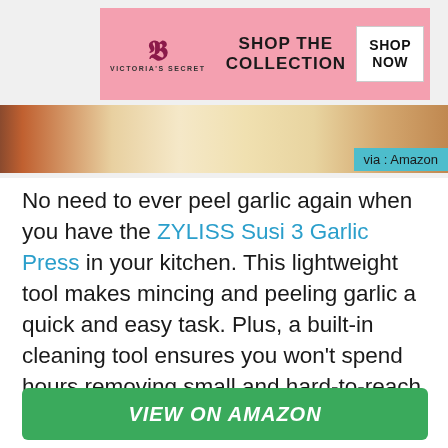[Figure (photo): Victoria's Secret advertisement banner with pink background, VS logo, 'SHOP THE COLLECTION' text, and 'SHOP NOW' button, overlaid on a woman's photo on the left]
[Figure (photo): Partial image of garlic cloves and bulbs as a horizontal strip]
via : Amazon
No need to ever peel garlic again when you have the ZYLISS Susi 3 Garlic Press in your kitchen. This lightweight tool makes mincing and peeling garlic a quick and easy task. Plus, a built-in cleaning tool ensures you won't spend hours removing small and hard-to-reach pieces of garlic from the device.
VIEW ON AMAZON